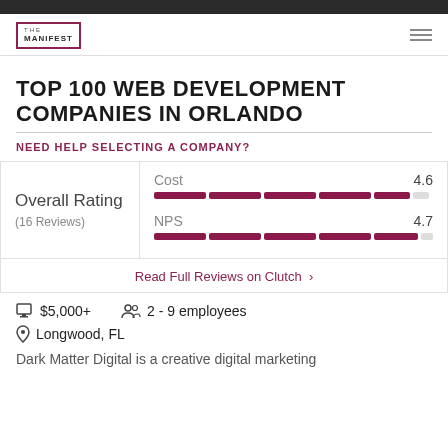THE MANIFEST
TOP 100 WEB DEVELOPMENT COMPANIES IN ORLANDO
NEED HELP SELECTING A COMPANY?
|  | Metric | Score |
| --- | --- | --- |
| Overall Rating (16 Reviews) | Cost | 4.6 |
|  | NPS | 4.7 |
Read Full Reviews on Clutch ›
$5,000+
2 - 9 employees
Longwood, FL
Dark Matter Digital is a creative digital marketing